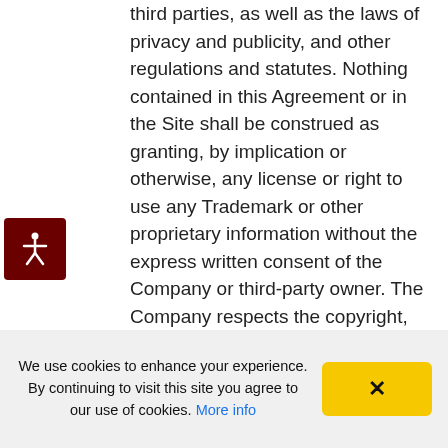third parties, as well as the laws of privacy and publicity, and other regulations and statutes. Nothing contained in this Agreement or in the Site shall be construed as granting, by implication or otherwise, any license or right to use any Trademark or other proprietary information without the express written consent of the Company or third-party owner. The Company respects the copyright, trademark and all other intellectual property rights of others. The Company has the right, but has no obligation, to remove content and accounts containing materials that it deems, in its sole discretion, to be unlawful, offensive, threatening, libelous, defamatory,
[Figure (illustration): Accessibility icon — white stick figure with arms outstretched on a dark red/maroon background square]
We use cookies to enhance your experience. By continuing to visit this site you agree to our use of cookies. More info